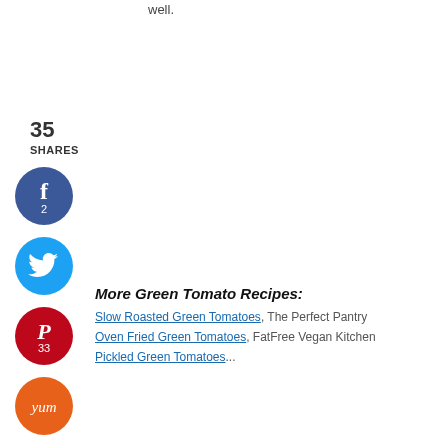well.
35
SHARES
[Figure (infographic): Facebook share button circle (blue) with letter f and count 2]
[Figure (infographic): Twitter share button circle (light blue) with bird icon]
[Figure (infographic): Pinterest share button circle (red) with P icon and count 33]
[Figure (infographic): Yummly share button circle (orange) with Yum script text]
More Green Tomato Recipes:
Slow Roasted Green Tomatoes, The Perfect Pantry
Oven Fried Green Tomatoes, FatFree Vegan Kitchen
Pickled Green Tomatoes...